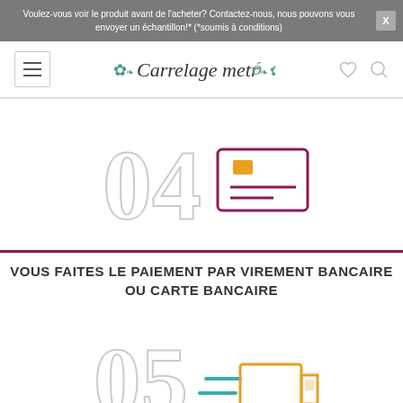Voulez-vous voir le produit avant de l'acheter? Contactez-nous, nous pouvons vous envoyer un échantillon!* (*soumis à conditions)
[Figure (logo): Carrelage metro logo with decorative flourishes]
[Figure (illustration): Step 04 icon: large outlined number 04 with a credit card icon (purple border, orange chip, purple lines)]
VOUS FAITES LE PAIEMENT PAR VIREMENT BANCAIRE OU CARTE BANCAIRE
[Figure (illustration): Step 05 icon: large outlined number 05 with a delivery truck icon in orange with teal speed lines]